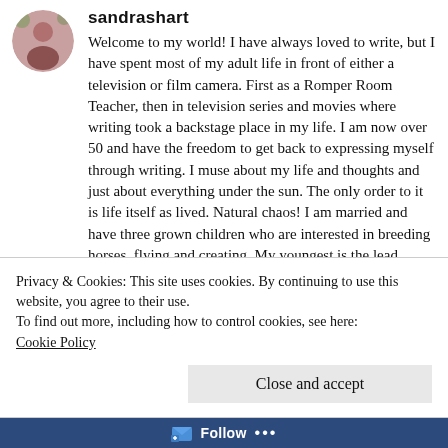sandrashart
Welcome to my world! I have always loved to write, but I have spent most of my adult life in front of either a television or film camera. First as a Romper Room Teacher, then in television series and movies where writing took a backstage place in my life. I am now over 50 and have the freedom to get back to expressing myself through writing. I muse about my life and thoughts and just about everything under the sun. The only order to it is life itself as lived. Natural chaos! I am married and have three grown children who are interested in breeding horses, flying and creating. My youngest is the lead singer/songwriter of the Grammy nominated band, Tonic, Emerson Hart. So here I am, wanting to read about you and at the same time bringing you along with me to mine. I hope you will find me just as
Privacy & Cookies: This site uses cookies. By continuing to use this website, you agree to their use.
To find out more, including how to control cookies, see here:
Cookie Policy
Close and accept
Follow